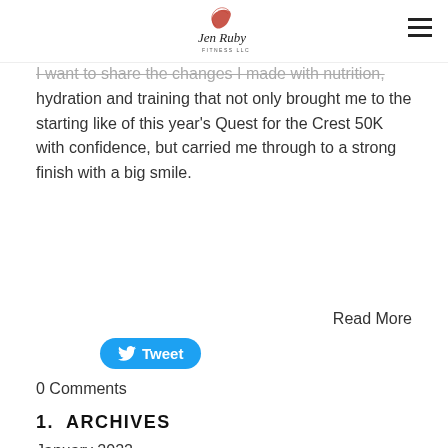Jen Ruby Fitness LLC
I want to share the changes I made with nutrition, hydration and training that not only brought me to the starting like of this year's Quest for the Crest 50K with confidence, but carried me through to a strong finish with a big smile.
Read More
[Figure (other): Twitter Tweet button]
0 Comments
1. ARCHIVES
January 2022
October 2020
June 2020